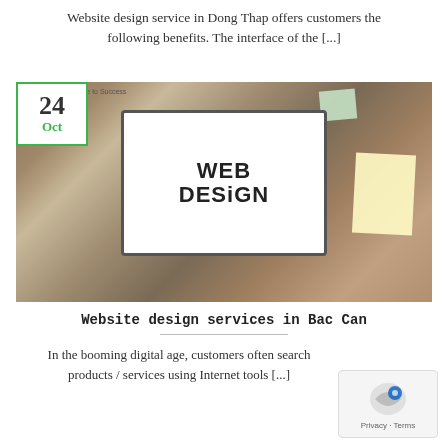Website design service in Dong Thap offers customers the following benefits. The interface of the [...]
[Figure (photo): Photo of a person typing on a laptop with 'WEB DESIGN' displayed on screen, surrounded by office and craft supplies on a cork board desk. Date badge showing '24 Oct' overlaid on top-left corner.]
Website design services in Bac Can
In the booming digital age, customers often search products / services using Internet tools [...]